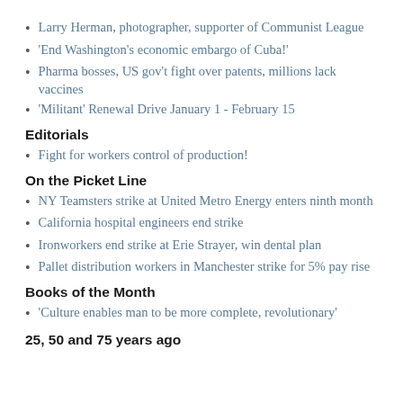Larry Herman, photographer, supporter of Communist League
'End Washington's economic embargo of Cuba!'
Pharma bosses, US gov't fight over patents, millions lack vaccines
'Militant' Renewal Drive January 1 - February 15
Editorials
Fight for workers control of production!
On the Picket Line
NY Teamsters strike at United Metro Energy enters ninth month
California hospital engineers end strike
Ironworkers end strike at Erie Strayer, win dental plan
Pallet distribution workers in Manchester strike for 5% pay rise
Books of the Month
'Culture enables man to be more complete, revolutionary'
25, 50 and 75 years ago